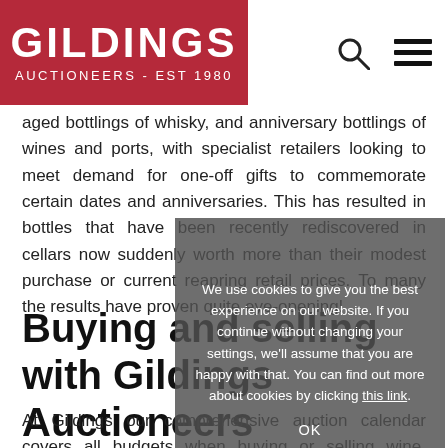[Figure (logo): Gildings Auctioneers logo - white text on dark red background, 'GILDINGS' large, 'AUCTIONEERS - EST 1980' below]
aged bottlings of whisky, and anniversary bottlings of wines and ports, with specialist retailers looking to meet demand for one-off gifts to commemorate certain dates and anniversaries. This has resulted in bottles that have been recently rediscovered in cellars now suddenly worth more than their modest purchase or current reapring retail prices. To many the results have proven quite eye-opening!
Buying and selling with Gildings Auctioneers
At Gildings our comprehensive auction calendar covers all budgets when buying or selling wine, whisky, or spirits, at
We use cookies to give you the best experience on our website. If you continue without changing your settings, we'll assume that you are happy with that. You can find out more about cookies by clicking this link.
OK